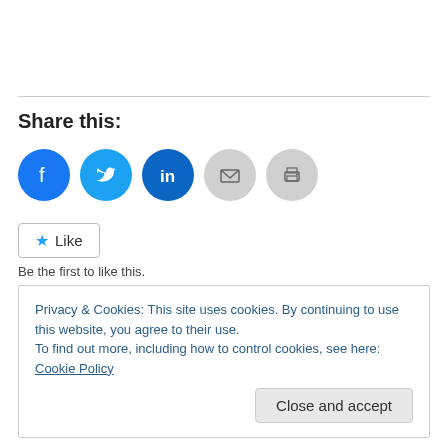[Figure (infographic): Social share icons row: Facebook (blue circle), Twitter (light blue circle), LinkedIn (dark blue circle), Email (gray circle), Print (gray circle)]
Share this:
Like  Be the first to like this.
Privacy & Cookies: This site uses cookies. By continuing to use this website, you agree to their use.
To find out more, including how to control cookies, see here: Cookie Policy